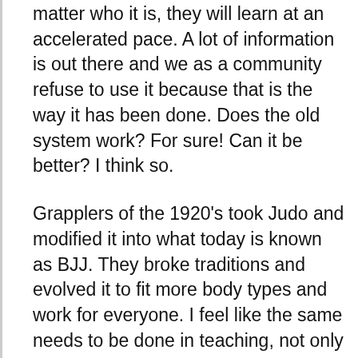matter who it is, they will learn at an accelerated pace. A lot of information is out there and we as a community refuse to use it because that is the way it has been done. Does the old system work? For sure! Can it be better? I think so.
Grapplers of the 1920's took Judo and modified it into what today is known as BJJ. They broke traditions and evolved it to fit more body types and work for everyone. I feel like the same needs to be done in teaching, not only for BJJ but in schools in the USA as well. I still feel like I am maybe just now a blue belt at this learning stuff, so I think my personal system will change